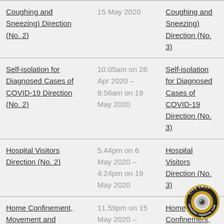| Direction (superseded) | Period in operation | Superseding direction |
| --- | --- | --- |
| Coughing and Sneezing) Direction (No. 2) | 15 May 2020 | Coughing and Sneezing) Direction (No. 3) |
| Self-isolation for Diagnosed Cases of COVID-19 Direction (No. 2) | 10.05am on 28 Apr 2020 – 8:56am on 19 May 2020 | Self-isolation for Diagnosed Cases of COVID-19 Direction (No. 3) |
| Hospital Visitors Direction (No. 2) | 5.44pm on 6 May 2020 – 4:24pm on 19 May 2020 | Hospital Visitors Direction (No. 3) |
| Home Confinement, Movement and Gathering Direction (No. 5) | 11.59pm on 15 May 2020 – 5:26pm on 19 May 2020 | Home Confinement, Movement and Gathering Direction (No. 6) |
[Figure (logo): Live Chat General Federal Law badge/seal in bottom right corner]